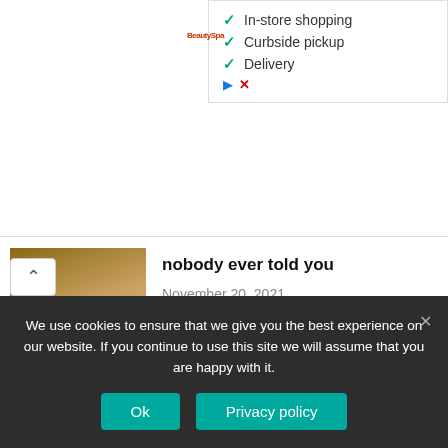[Figure (screenshot): Ad panel showing In-store shopping, Curbside pickup, Delivery checklist with teal checkmarks, a red logo label, and blue/red icons]
[Figure (photo): Two people hugging, partial view from behind, brownish tones]
nobody ever told you
November 20, 2021
[Figure (photo): Couple laughing while looking at a tablet, sitting on a couch with bokeh lights in background]
50 cute names to call your Nigerian girlfriend
September 13, 2021
[Figure (photo): Partially visible blurred/gray image thumbnail for third article]
Nigerian woman dragged to court
We use cookies to ensure that we give you the best experience on our website. If you continue to use this site we will assume that you are happy with it.